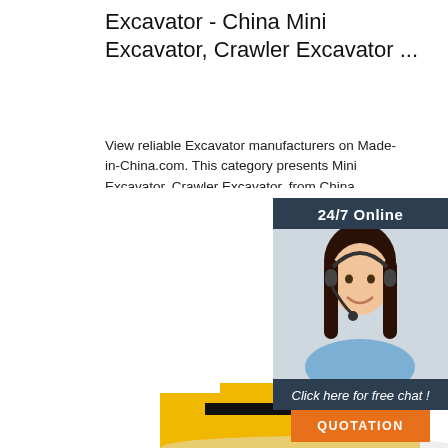Excavator - China Mini Excavator, Crawler Excavator ...
View reliable Excavator manufacturers on Made-in-China.com. This category presents Mini Excavator, Crawler Excavator, from China Excavator suppliers to global buyers., page 8
[Figure (illustration): Orange 'Get Price' button]
[Figure (photo): Customer service chat widget with 24/7 Online label, photo of smiling woman with headset, 'Click here for free chat!' text, and orange QUOTATION button]
[Figure (photo): Bottom portion of a yellow mini excavator/crawler excavator with black canopy and orange body against white background]